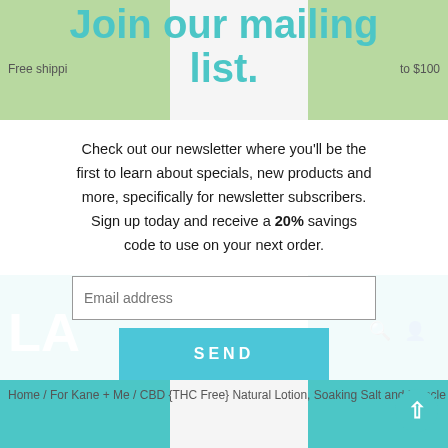Join our mailing list.
Check out our newsletter where you'll be the first to learn about specials, new products and more, specifically for newsletter subscribers. Sign up today and receive a 20% savings code to use on your next order.
Email address
SEND
Home / For Kane + Me / CBD {THC Free} Natural Lotion, Soaking Salt and Muscle Rub